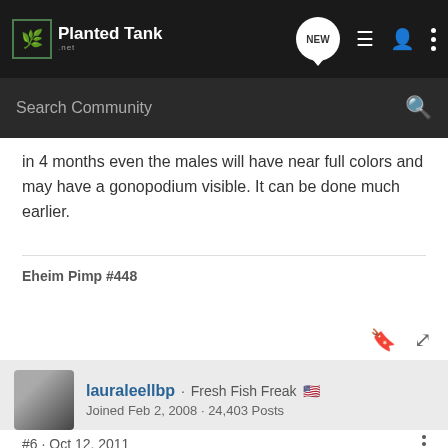PlantedTank · NEW
in 4 months even the males will have near full colors and may have a gonopodium visible. It can be done much earlier.
Eheim Pimp #448
lauraleellbp · Fresh Fish Freak 🇺🇸 Joined Feb 2, 2008 · 24,403 Posts
#6 · Oct 12, 2011
Aren't gonopodiums distinguishable before 4 months? I'd go by gonopodiums to confirm males- at the point where you can see